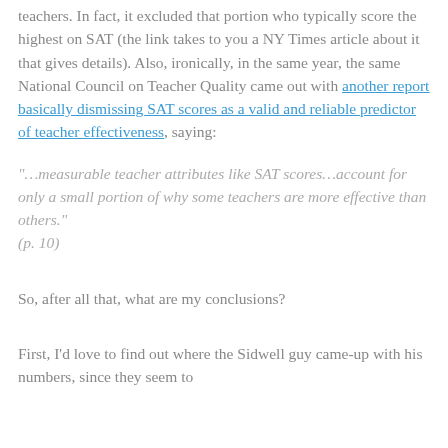teachers. In fact, it excluded that portion who typically score the highest on SAT (the link takes to you a NY Times article about it that gives details). Also, ironically, in the same year, the same National Council on Teacher Quality came out with another report basically dismissing SAT scores as a valid and reliable predictor of teacher effectiveness, saying:
“…measurable teacher attributes like SAT scores…account for only a small portion of why some teachers are more effective than others.” (p. 10)
So, after all that, what are my conclusions?
First, I’d love to find out where the Sidwell guy came-up with his numbers, since they seem to